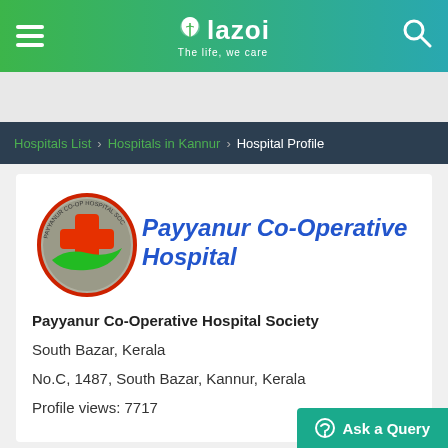lazoi — The life, we care
Hospitals List | Hospitals in Kannur | Hospital Profile
[Figure (logo): Payyanur Co-Operative Hospital logo: oval shape with red cross and green hands, red border]
Payyanur Co-Operative Hospital
Payyanur Co-Operative Hospital Society
South Bazar, Kerala
No.C, 1487, South Bazar, Kannur, Kerala
Profile views: 7717